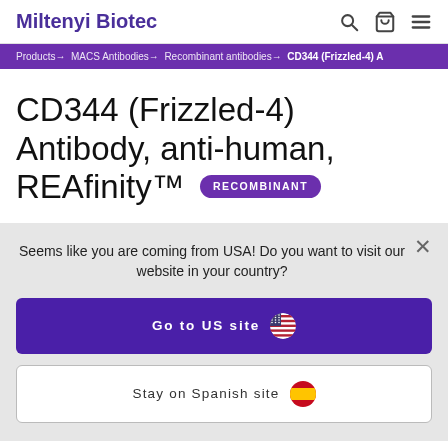Miltenyi Biotec
Products → MACS Antibodies → Recombinant antibodies → CD344 (Frizzled-4) A
CD344 (Frizzled-4) Antibody, anti-human, REAfinity™ RECOMBINANT
Seems like you are coming from USA! Do you want to visit our website in your country?
Go to US site
Stay on Spanish site